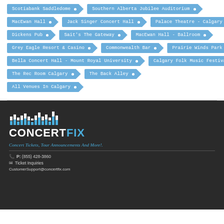Scotiabank Saddledome
Southern Alberta Jubilee Auditorium
MacEwan Hall
Jack Singer Concert Hall
Palace Theatre - Calgary
Dickens Pub
Sait's The Gateway
MacEwan Hall - Ballroom
Grey Eagle Resort & Casino
Commonwealth Bar
Prairie Winds Park
Bella Concert Hall - Mount Royal University
Calgary Folk Music Festival Hall
The Rec Room Calgary
The Back Alley
All Venues In Calgary
[Figure (logo): ConcertFix logo with bar chart graphic above text CONCERTFIX]
Concert Tickets, Tour Announcements And More!.
P: (855) 428-3860
Ticket Inquiries
CustomerSupport@concertfix.com